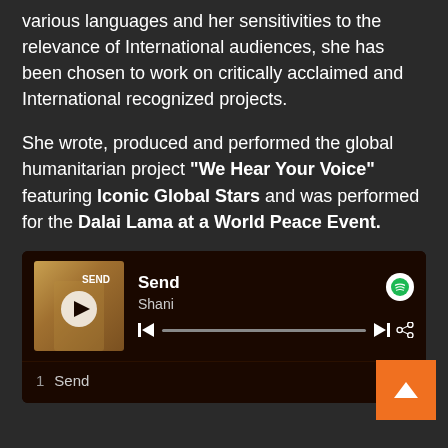various languages and her sensitivities to the relevance of International audiences, she has been chosen to work on critically acclaimed and International recognized projects.
She wrote, produced and performed the global humanitarian project "We Hear Your Voice" featuring Iconic Global Stars and was performed for the Dalai Lama at a World Peace Event.
[Figure (screenshot): Spotify music player widget showing track 'Send' by Shani. Album art on the left with a play button overlay. Track title 'Send', artist 'Shani', Spotify logo icon, playback controls (previous, progress bar, next, share), and track listing showing '1  Send  3:53'.]